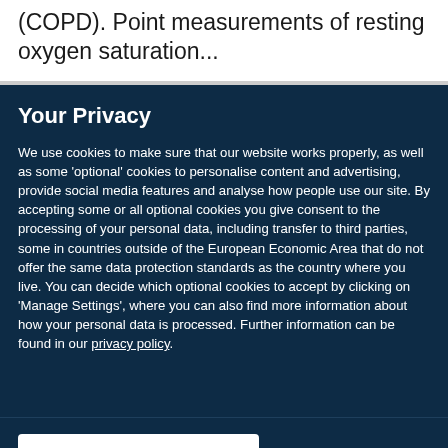(COPD). Point measurements of resting oxygen saturation...
Your Privacy
We use cookies to make sure that our website works properly, as well as some 'optional' cookies to personalise content and advertising, provide social media features and analyse how people use our site. By accepting some or all optional cookies you give consent to the processing of your personal data, including transfer to third parties, some in countries outside of the European Economic Area that do not offer the same data protection standards as the country where you live. You can decide which optional cookies to accept by clicking on 'Manage Settings', where you can also find more information about how your personal data is processed. Further information can be found in our privacy policy.
Accept all cookies
Manage preferences